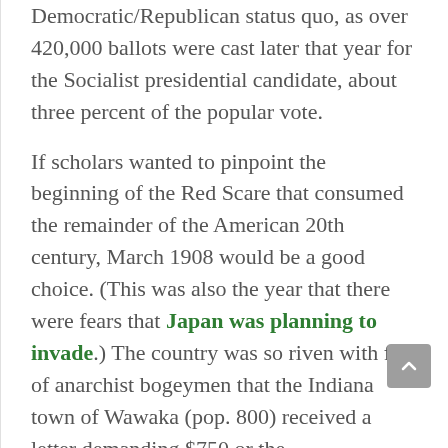Democratic/Republican status quo, as over 420,000 ballots were cast later that year for the Socialist presidential candidate, about three percent of the popular vote.
If scholars wanted to pinpoint the beginning of the Red Scare that consumed the remainder of the American 20th century, March 1908 would be a good choice. (This was also the year that there were fears that Japan was planning to invade.) The country was so riven with fear of anarchist bogeymen that the Indiana town of Wawaka (pop. 800) received a letter demanding $750 or the